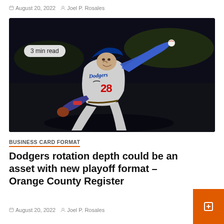August 20, 2022   Joel P. Rosales
[Figure (photo): A Los Angeles Dodgers pitcher wearing number 28 in a gray Dodgers uniform, mid-pitch delivery against a dark background.]
BUSINESS CARD FORMAT
Dodgers rotation depth could be an asset with new playoff format – Orange County Register
August 20, 2022   Joel P. Rosales